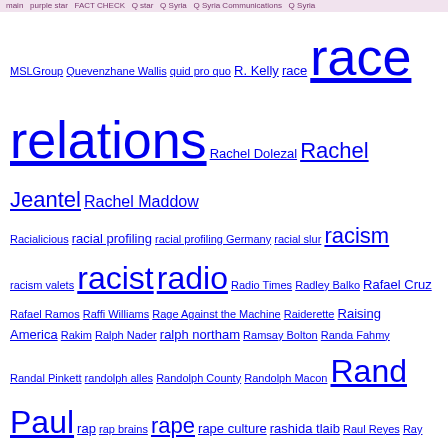Tag cloud with terms: MSLGroup, Quevenzhane Wallis, quid pro quo, R. Kelly, race, race relations, Rachel Dolezal, Rachel Jeantel, Rachel Maddow, Racialicious, racial profiling, racial profiling Germany, racial slur, racism, racism valets, racist, radio, Radio Times, Radley Balko, Rafael Cruz, Rafael Ramos, Raffi Williams, Rage Against the Machine, Raiderette, Raising America, Rakim, Ralph Nader, ralph northam, Ramsay Bolton, Randa Fahmy, Randal Pinkett, randolph alles, Randolph County, Randolph Macon, Rand Paul, rap, rap brains, rape, rape culture, rashida tlaib, Raul Reyes, Ray Nagin, Raynard Jackson, Ray Rice, Ray Suarez, Razzie Awards, re-enactment, reaction, Ready Player One, Real Husbands of Hollywood, Rebecca Berg, Rebecca Theodore, Rebuild the Dream, recall, recession, recidivism, recount, Red Dawn, Redding News Review, redistricting, Red Lobster, RedState, Red State, RedState Gathering, Red Summer, Red Tails, referees, referendum, refugees, Reggie Vaughn, Reid Report, Reince Priebus, religion, religious freedom, Religious Freedom Restoration Act, religious police, remix, Renee Montagne, Renee Zellweger, Renisha